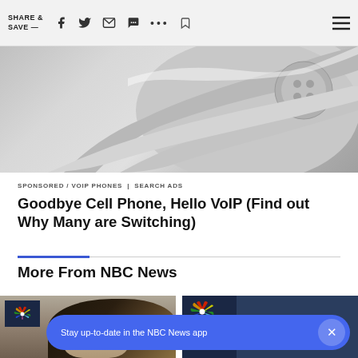SHARE & SAVE —  [social icons]  [menu]
[Figure (photo): Close-up photo of a silver/chrome VoIP desk phone handset from above]
SPONSORED / VOIP PHONES | SEARCH ADS
Goodbye Cell Phone, Hello VoIP (Find out Why Many are Switching)
More From NBC News
[Figure (photo): NBC News article card showing a person with curly dark hair, with NBC peacock logo badge in upper left]
[Figure (photo): NBC News card with peacock logo on dark navy background]
Stay up-to-date in the NBC News app